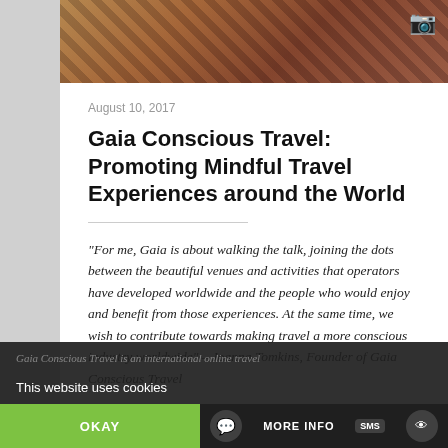[Figure (photo): Top photo showing brown/amber textured background with tribal or nature imagery, partially visible]
August 10, 2017
Gaia Conscious Travel: Promoting Mindful Travel Experiences around the World
“For me, Gaia is about walking the talk, joining the dots between the beautiful venues and activities that operators have developed worldwide and the people who would enjoy and benefit from those experiences. At the same time, we wish to contribute towards making travel a more conscious industry worldwide” – Joanna Tomkins, Founder of Gaia Conscious Travel
Gaia Conscious Travel is an international online travel
This website uses cookies
OKAY
MORE INFO